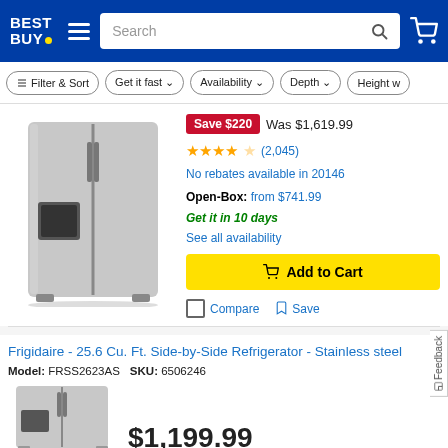[Figure (screenshot): Best Buy website header with logo, hamburger menu, search bar, and cart icon]
Filter & Sort
Get it fast ∨
Availability ∨
Depth ∨
Height w
[Figure (photo): Stainless steel side-by-side refrigerator product photo]
Save $220  Was $1,619.99
★★★★☆ (2,045)
No rebates available in 20146
Open-Box: from $741.99
Get it in 10 days
See all availability
Add to Cart
Compare   Save
Frigidaire - 25.6 Cu. Ft. Side-by-Side Refrigerator - Stainless steel
Model: FRSS2623AS   SKU: 6506246
$1,199.99